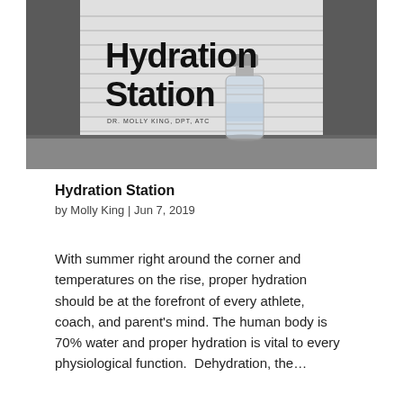[Figure (photo): A black and white photo of a water bottle on a surface with window blinds in the background. Bold text overlay reads 'Hydration Station' and below it 'DR. MOLLY KING, DPT, ATC'.]
Hydration Station
by Molly King | Jun 7, 2019
With summer right around the corner and temperatures on the rise, proper hydration should be at the forefront of every athlete, coach, and parent's mind. The human body is 70% water and proper hydration is vital to every physiological function.  Dehydration, the...